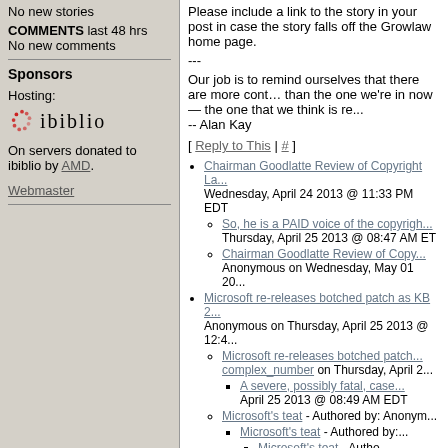No new stories
COMMENTS last 48 hrs
No new comments
Sponsors
Hosting:
[Figure (logo): ibiblio logo with red dotted circle and lowercase ibiblio text]
On servers donated to ibiblio by AMD.
Webmaster
Please include a link to the story in your post in case the story falls off the Growlaw home page.
---
Our job is to remind ourselves that there are more contexts than the one we're in now — the one that we think is re...
-- Alan Kay
[ Reply to This | # ]
Chairman Goodlatte Review of Copyright La... Wednesday, April 24 2013 @ 11:33 PM EDT
So, he is a PAID voice of the copyrigh... Thursday, April 25 2013 @ 08:47 AM ET
Chairman Goodlatte Review of Copy... Anonymous on Wednesday, May 01 20...
Microsoft re-releases botched patch as KB 2... Anonymous on Thursday, April 25 2013 @ 12:4...
Microsoft re-releases botched patch... complex_number on Thursday, April 2...
A severe, possibly fatal, case... April 25 2013 @ 08:49 AM EDT
Microsoft's teat - Authored by: Anonym...
Microsoft's teat - Authored by:...
Microsoft's teat - Autho... PM EDT
Hardware or Software?... @ 06:38 PM EDT
Boot time is not... April 26 2013 @...
Yes it is... 07:58 AM...
Microsoft re-releases botched patch...